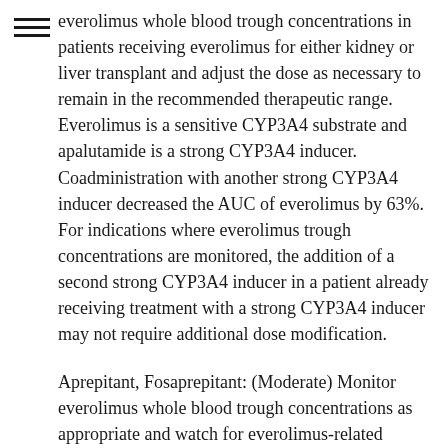everolimus whole blood trough concentrations in patients receiving everolimus for either kidney or liver transplant and adjust the dose as necessary to remain in the recommended therapeutic range. Everolimus is a sensitive CYP3A4 substrate and apalutamide is a strong CYP3A4 inducer. Coadministration with another strong CYP3A4 inducer decreased the AUC of everolimus by 63%. For indications where everolimus trough concentrations are monitored, the addition of a second strong CYP3A4 inducer in a patient already receiving treatment with a strong CYP3A4 inducer may not require additional dose modification.
Aprepitant, Fosaprepitant: (Moderate) Monitor everolimus whole blood trough concentrations as appropriate and watch for everolimus-related adverse reactions if coadministration with a multi-day oral